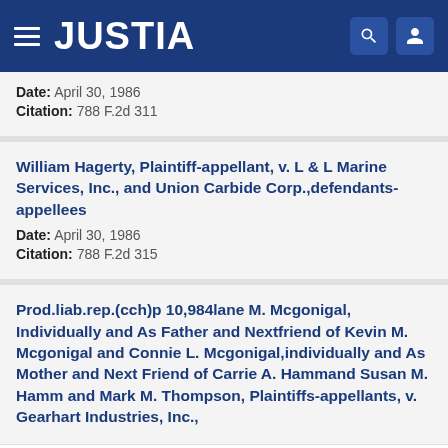JUSTIA
Date: April 30, 1986
Citation: 788 F.2d 311
William Hagerty, Plaintiff-appellant, v. L & L Marine Services, Inc., and Union Carbide Corp.,defendants-appellees
Date: April 30, 1986
Citation: 788 F.2d 315
Prod.liab.rep.(cch)p 10,984lane M. Mcgonigal, Individually and As Father and Nextfriend of Kevin M. Mcgonigal and Connie L. Mcgonigal,individually and As Mother and Next Friend of Carrie A. Hammand Susan M. Hamm and Mark M. Thompson, Plaintiffs-appellants, v. Gearhart Industries, Inc.,